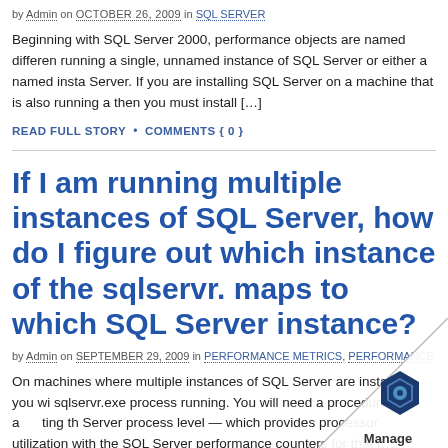by Admin on OCTOBER 26, 2009 in SQL SERVER
Beginning with SQL Server 2000, performance objects are named differently depending on whether you are running a single, unnamed instance of SQL Server or either a named instance of SQL Server. If you are installing SQL Server on a machine that is also running a then you must install […]
READ FULL STORY • COMMENTS { 0 }
If I am running multiple instances of SQL Server, how do I figure out which instance of the sqlservr.exe process maps to which SQL Server instance?
by Admin on SEPTEMBER 29, 2009 in PERFORMANCE METRICS, PERFORMANCE
On machines where multiple instances of SQL Server are installed, you will have multiple sqlservr.exe process running. You will need a procedure for a ting the Server process level — which provides processor utilization with the SQL Server performance counters for that […]
READ FULL STORY • COMMENTS { 0 }